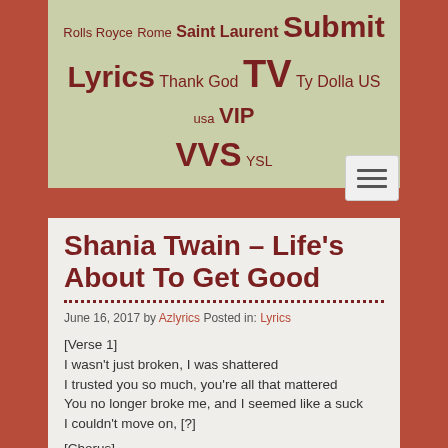Rolls Royce Rome Saint Laurent Submit Lyrics Thank God TV Ty Dolla US usa VIP VVS YSL
Shania Twain – Life's About To Get Good
June 16, 2017 by Azlyrics Posted in: Lyrics
[Verse 1]
I wasn't just broken, I was shattered
I trusted you so much, you're all that mattered
You no longer broke me, and I seemed like a suck
I couldn't move on, [?]

[Chorus]
Life's about joy
Life's about pain